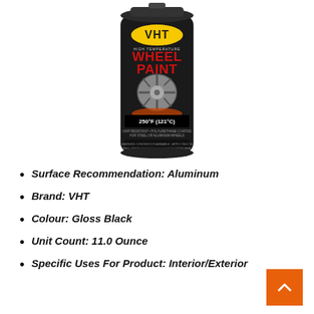[Figure (photo): VHT High Temperature Wheel Paint spray can, black can with yellow VHT logo, showing a chrome wheel, labeled Chip Resistant Polyurethane Coating for Steel or Aluminum Wheels, 250°F (121°C), Net Wt. 11 oz (312g)]
Surface Recommendation: Aluminum
Brand: VHT
Colour: Gloss Black
Unit Count: 11.0 Ounce
Specific Uses For Product: Interior/Exterior